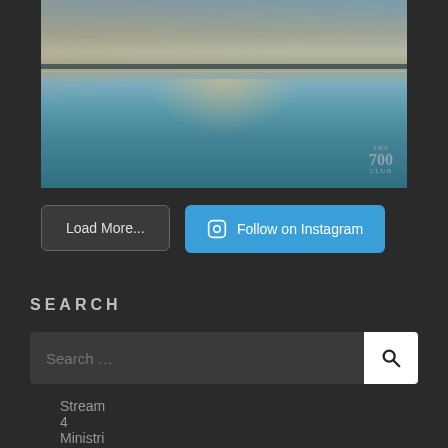[Figure (photo): Aerial panoramic sunset photo over calm water with horizon line and watermark reading 'THE 700 CLUB' in the bottom right corner]
Load More...
Follow on Instagram
SEARCH
Search ...
Stream 4 Ministries